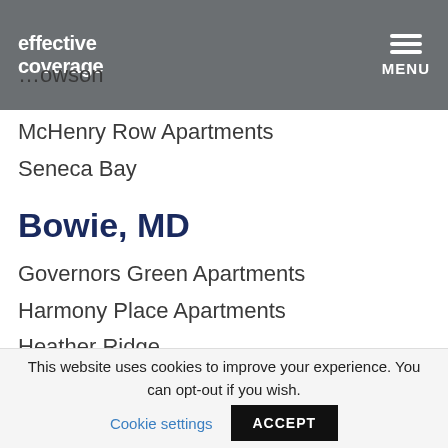effective coverage
Towson
McHenry Row Apartments
Seneca Bay
Bowie, MD
Governors Green Apartments
Harmony Place Apartments
Heather Ridge
Meridian At Bowie
College Park, MD
This website uses cookies to improve your experience. You can opt-out if you wish. Cookie settings ACCEPT